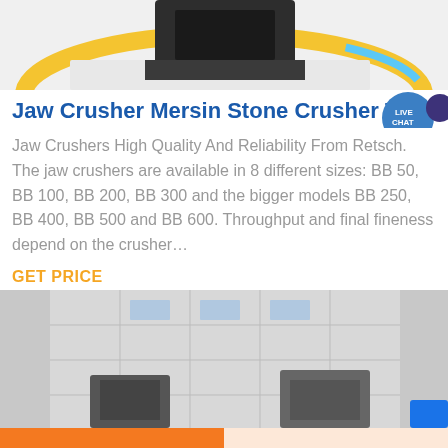[Figure (photo): Top portion of a crusher machine with colorful circular elements visible, partially cropped]
Jaw Crusher Mersin Stone Crusher To J…
[Figure (illustration): Live Chat badge icon — teal speech bubble with LIVE CHAT text]
Jaw Crushers High Quality And Reliability From Retsch. The jaw crushers are available in 8 different sizes: BB 50, BB 100, BB 200, BB 300 and the bigger models BB 250, BB 400, BB 500 and BB 600. Throughput and final fineness depend on the crusher…
GET PRICE
[Figure (photo): Industrial building exterior with large crushing machinery visible, partially cropped at bottom]
Get a Quote
WhatsApp